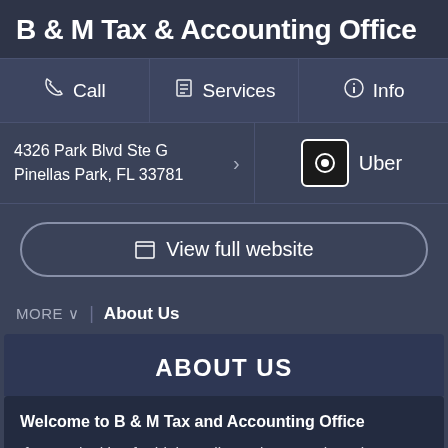B & M Tax & Accounting Office
Call  Services  Info
4326 Park Blvd Ste G
Pinellas Park, FL 33781
Uber
View full website
MORE  |  About Us
ABOUT US
Welcome to B & M Tax and Accounting Office
If you're looking for high quality and personal service you've come to the right place. At B & M Tax and Accounting Office we'll give